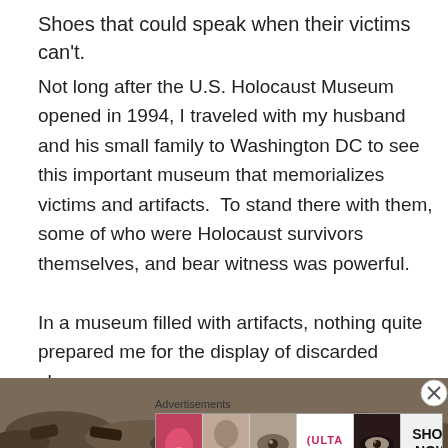Shoes that could speak when their victims can't.
Not long after the U.S. Holocaust Museum opened in 1994, I traveled with my husband and his small family to Washington DC to see this important museum that memorializes victims and artifacts.  To stand there with them, some of who were Holocaust survivors themselves, and bear witness was powerful.
In a museum filled with artifacts, nothing quite prepared me for the display of discarded shoes.
[Figure (photo): Partial view of a pile of shoes at the Holocaust Museum, shown as a dark brown/grey mass along the bottom edge of the page.]
Advertisements
[Figure (other): Advertisement banner for ULTA beauty with makeup imagery and 'SHOP NOW' button.]